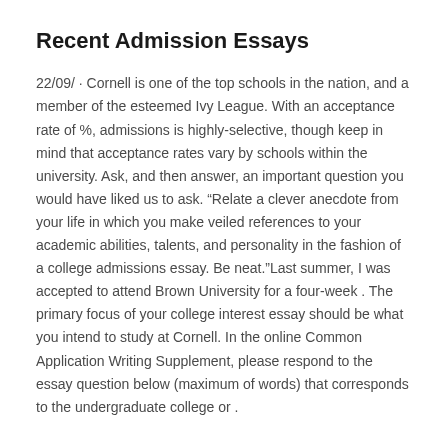Recent Admission Essays
22/09/ · Cornell is one of the top schools in the nation, and a member of the esteemed Ivy League. With an acceptance rate of %, admissions is highly-selective, though keep in mind that acceptance rates vary by schools within the university. Ask, and then answer, an important question you would have liked us to ask. “Relate a clever anecdote from your life in which you make veiled references to your academic abilities, talents, and personality in the fashion of a college admissions essay. Be neat.”Last summer, I was accepted to attend Brown University for a four-week . The primary focus of your college interest essay should be what you intend to study at Cornell. In the online Common Application Writing Supplement, please respond to the essay question below (maximum of words) that corresponds to the undergraduate college or .